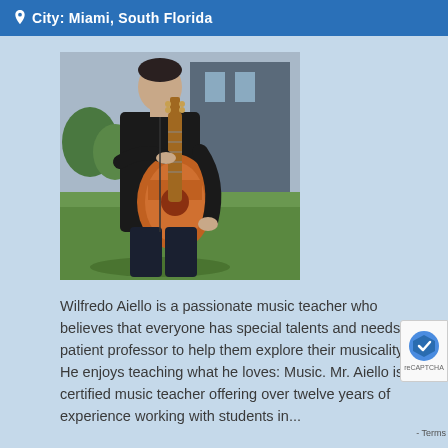City: Miami, South Florida
[Figure (photo): Man in black shirt holding a classical acoustic guitar, standing outdoors on a grass lawn with a building in the background.]
Wilfredo Aiello is a passionate music teacher who believes that everyone has special talents and needs a patient professor to help them explore their musicality! He enjoys teaching what he loves: Music. Mr. Aiello is a certified music teacher offering over twelve years of experience working with students in...